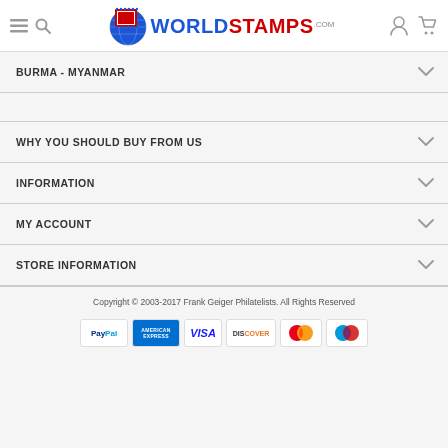WorldStamps.com — navigation header with hamburger, search, logo, account, cart icons
BURMA - MYANMAR
WHY YOU SHOULD BUY FROM US
INFORMATION
MY ACCOUNT
STORE INFORMATION
Copyright © 2003-2017 Frank Geiger Philatelists. All Rights Reserved
[Figure (logo): Payment method logos: PayPal, American Express, VISA, DISCOVER, MasterCard, Maestro]